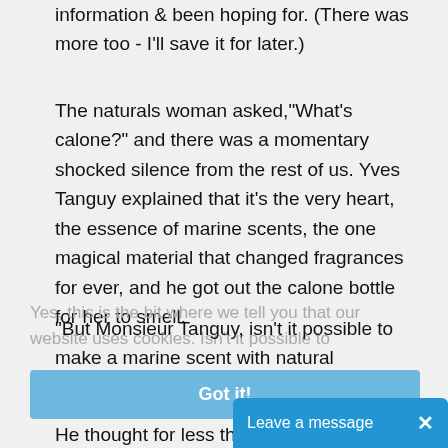information & been hoping for. (There was more too - I'll save it for later.)
The naturals woman asked,"What's calone?" and there was a momentary shocked silence from the rest of us. Yves Tanguy explained that it's the very heart, the essence of marine scents, the one magical material that changed fragrances for ever, and he got out the calone bottle for her to smell.
Yes, this is the bit where we tell you that our website uses cookies. Isn't it possible to
"But Monsieur Tanguy, isn't it possible to make a marine scent with natural materials?" she asked.
Got it!
Leave a message  ×
He thought for less than a